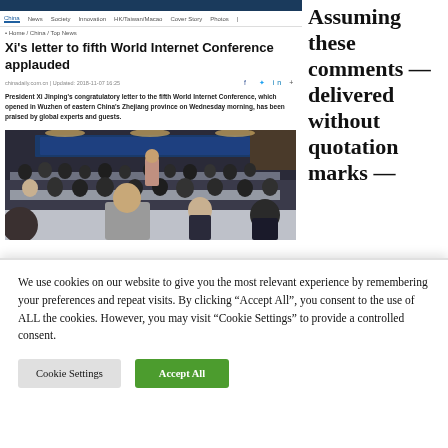China | News | Society | Innovation | HK/Taiwan/Macao | Cover Story | Photos
• Home / China / Top News
Xi's letter to fifth World Internet Conference applauded
chinadaily.com.cn | Updated: 2018-11-07 16:25
President Xi Jinping's congratulatory letter to the fifth World Internet Conference, which opened in Wuzhen of eastern China's Zhejiang province on Wednesday morning, has been praised by global experts and guests.
[Figure (photo): Conference hall with attendees seated in rows of white chairs, with a man in a suit in the foreground and others in the background.]
Assuming these comments — delivered without quotation marks —
We use cookies on our website to give you the most relevant experience by remembering your preferences and repeat visits. By clicking "Accept All", you consent to the use of ALL the cookies. However, you may visit "Cookie Settings" to provide a controlled consent.